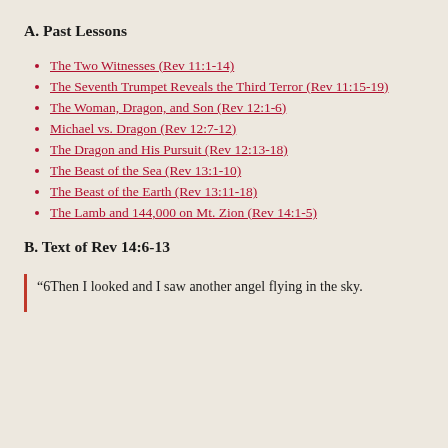A. Past Lessons
The Two Witnesses (Rev 11:1-14)
The Seventh Trumpet Reveals the Third Terror (Rev 11:15-19)
The Woman, Dragon, and Son (Rev 12:1-6)
Michael vs. Dragon (Rev 12:7-12)
The Dragon and His Pursuit (Rev 12:13-18)
The Beast of the Sea (Rev 13:1-10)
The Beast of the Earth (Rev 13:11-18)
The Lamb and 144,000 on Mt. Zion (Rev 14:1-5)
B. Text of Rev 14:6-13
“6Then I looked and I saw another angel flying in the sky.